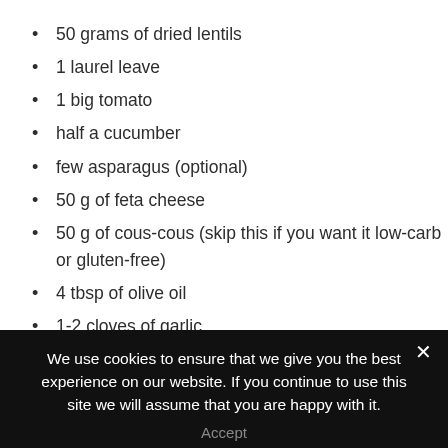50 grams of dried lentils
1 laurel leave
1 big tomato
half a cucumber
few asparagus (optional)
50 g of feta cheese
50 g of cous-cous (skip this if you want it low-carb or gluten-free)
4 tbsp of olive oil
1-2 cloves of garlic
1 lemon
yogurt (optional)
2 tbsp of parsley
We use cookies to ensure that we give you the best experience on our website. If you continue to use this site we will assume that you are happy with it.
Accept